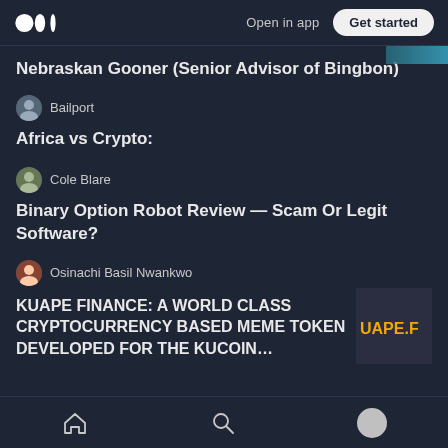Open in app | Get started
Nebraskan Gooner (Senior Advisor of Bingbon)
Bailport
Africa vs Crypto:
Cole Blare
Binary Option Robot Review — Scam Or Legit Software?
Osinachi Basil Nwankwo
KUAPE FINANCE: A WORLD CLASS CRYPTOCURRENCY BASED MEME TOKEN DEVELOPED FOR THE KUCOIN…
[Figure (logo): UAPE.F logo thumbnail in gold/yellow text on dark background]
Home | Search | Profile